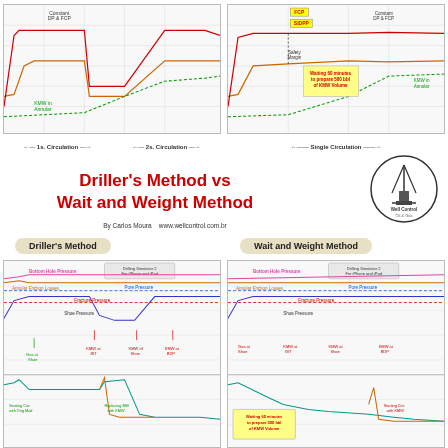[Figure (continuous-plot): Two side-by-side well control pressure vs time charts showing Driller's Method (1st and 2nd Circulation) and Wait and Weight Method (Single Circulation). Labels include Constant DP & FCP, KMW in Annular, FCP, SIDPP, Safety Margin, Waiting 60 minutes to prepare 500 bbl of KMW Volume.]
Driller's Method vs Wait and Weight Method
By Carlos Moura   www.wellcontrol.com.br
[Figure (logo): Well Control Oil & Gas logo — circular badge with drilling rig silhouette]
Driller's Method
Wait and Weight Method
[Figure (continuous-plot): Driller's Method simulator chart showing Bottom Hole Pressure, Annular Friction Losses, Pore Pressure, Fracture Pressure, Shoe Pressure lines with annotations: Gas at Shoe, KMW at BIT, KMW at Shoe, KMW at BDP, Starting Circ with Orig Mud, Replacing MW with KMW.]
[Figure (continuous-plot): Wait and Weight Method simulator chart showing Bottom Hole Pressure, Annular Friction Losses, Pore Pressure, Fracture Pressure, Shoe Pressure lines with annotations: Gas at Shoe, KMW at BIT, KMW at Shoe, KMW at BDP, Starting Circ with KMW, Waiting 60 minutes to prepare 500 bbl of KMW Volume.]